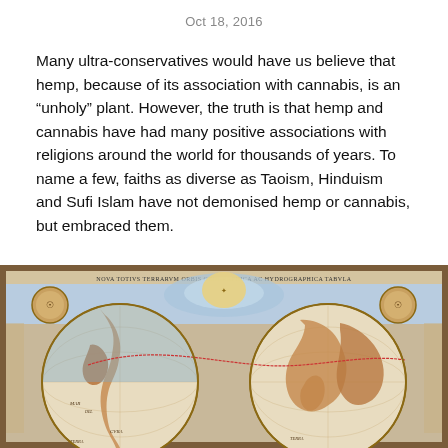Oct 18, 2016
Many ultra-conservatives would have us believe that hemp, because of its association with cannabis, is an “unholy” plant. However, the truth is that hemp and cannabis have had many positive associations with religions around the world for thousands of years. To name a few, faiths as diverse as Taoism, Hinduism and Sufi Islam have not demonised hemp or cannabis, but embraced them.
[Figure (map): Antique double-hemisphere world map titled 'NOVA TOTIVS TERRARVM ORBIS GEOGRAPHICA AC HYDROGRAPHICA TABVLA', showing the western and eastern hemispheres with ornate cartographic decorations, portrait medallions in corners, and detailed geographic labels.]